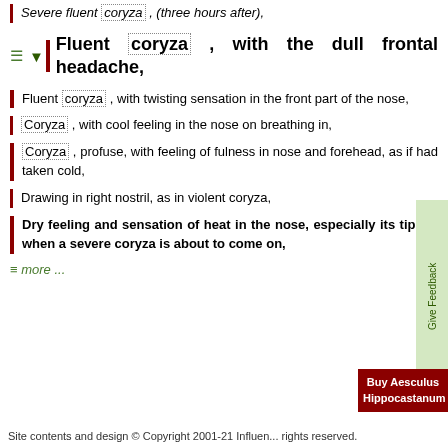Severe fluent coryza , (three hours after),
Fluent coryza , with the dull frontal headache,
Fluent coryza , with twisting sensation in the front part of the nose,
Coryza , with cool feeling in the nose on breathing in,
Coryza , profuse, with feeling of fulness in nose and forehead, as if had taken cold,
Drawing in right nostril, as in violent coryza,
Dry feeling and sensation of heat in the nose, especially its tip, as when a severe coryza is about to come on,
≡ more ...
Site contents and design © Copyright 2001-21 Influen... rights reserved.